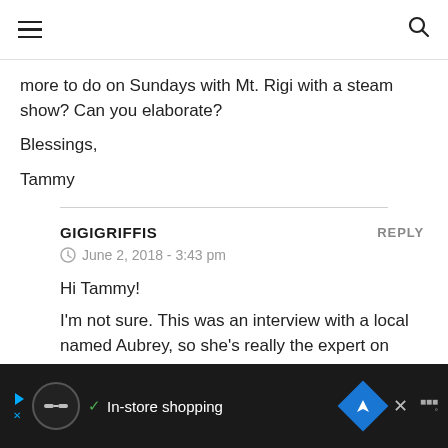[hamburger menu icon] [search icon]
more to do on Sundays with Mt. Rigi with a steam show? Can you elaborate?
Blessings,
Tammy
GIGIGRIFFIS
June 2, 2018 - 3:43 pm
Hi Tammy!
I'm not sure. This was an interview with a local named Aubrey, so she's really the expert on
[Ad] In-store shopping [X]